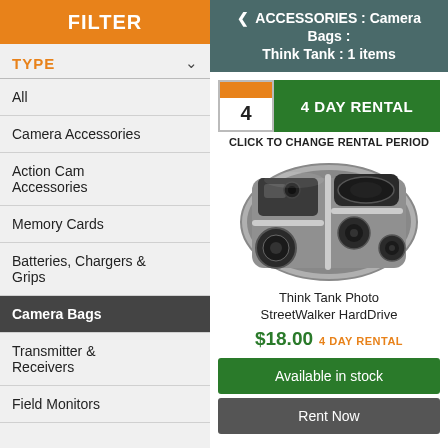FILTER
TYPE
All
Camera Accessories
Action Cam Accessories
Memory Cards
Batteries, Chargers & Grips
Camera Bags
Transmitter & Receivers
Field Monitors
< ACCESSORIES : Camera Bags : Think Tank : 1 items
4 DAY RENTAL
CLICK TO CHANGE RENTAL PERIOD
[Figure (photo): Open camera bag (Think Tank Photo StreetWalker HardDrive) showing compartments with cameras and lenses]
Think Tank Photo StreetWalker HardDrive
$18.00  4 DAY RENTAL
Available in stock
Rent Now